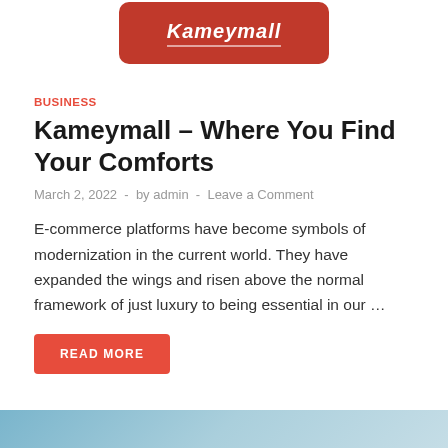[Figure (logo): Red rounded rectangle banner with white italic text logo, partially visible at top of page]
BUSINESS
Kameymall – Where You Find Your Comforts
March 2, 2022  -  by admin  -  Leave a Comment
E-commerce platforms have become symbols of modernization in the current world. They have expanded the wings and risen above the normal framework of just luxury to being essential in our …
READ MORE
[Figure (photo): Partial image visible at bottom of page, appears to show people]